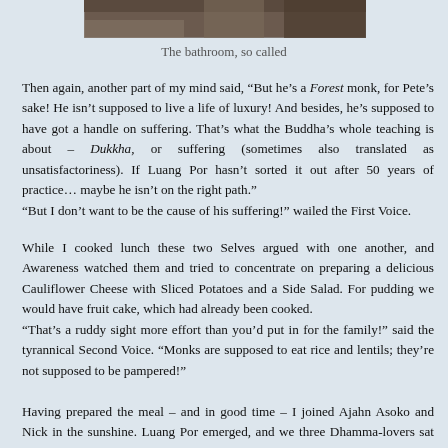[Figure (photo): Partial view of a bathroom, cropped at top of page]
The bathroom, so called
Then again, another part of my mind said, “But he’s a Forest monk, for Pete’s sake! He isn’t supposed to live a life of luxury! And besides, he’s supposed to have got a handle on suffering. That’s what the Buddha’s whole teaching is about – Dukkha, or suffering (sometimes also translated as unsatisfactoriness). If Luang Por hasn’t sorted it out after 50 years of practice… maybe he isn’t on the right path.”
“But I don’t want to be the cause of his suffering!” wailed the First Voice.
While I cooked lunch these two Selves argued with one another, and Awareness watched them and tried to concentrate on preparing a delicious Cauliflower Cheese with Sliced Potatoes and a Side Salad. For pudding we would have fruit cake, which had already been cooked.
“That’s a ruddy sight more effort than you’d put in for the family!” said the tyrannical Second Voice. “Monks are supposed to eat rice and lentils; they’re not supposed to be pampered!”
Having prepared the meal – and in good time – I joined Ajahn Asoko and Nick in the sunshine. Luang Por emerged, and we three Dhamma-lovers sat in a row on the cabin roof, enjoying the glorious weather. Humpback